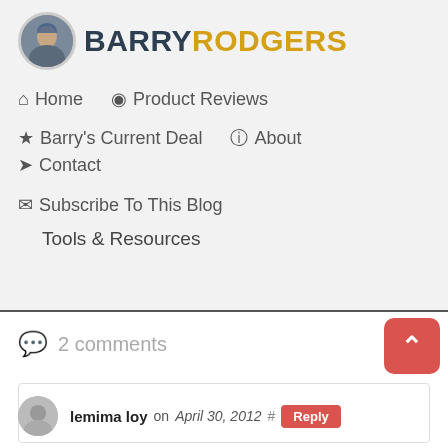[Figure (logo): Barry Rodgers blog logo with circular avatar photo and bold text BARRY RODGERS where BARRY is dark navy and RODGERS is gold/amber]
Home   Product Reviews
Barry's Current Deal   About   Contact
Subscribe To This Blog
Tools & Resources
2 comments
lemima loy on April 30, 2012  #  Reply